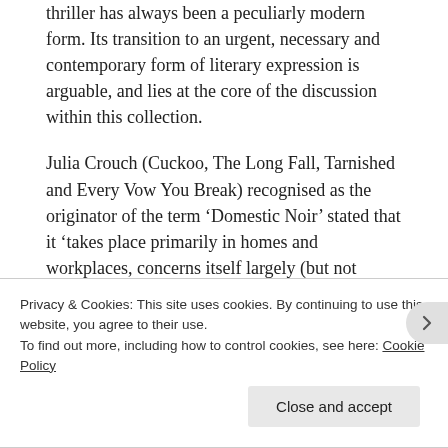thriller has always been a peculiarly modern form. Its transition to an urgent, necessary and contemporary form of literary expression is arguable, and lies at the core of the discussion within this collection.
Julia Crouch (Cuckoo, The Long Fall, Tarnished and Every Vow You Break) recognised as the originator of the term ‘Domestic Noir’ stated that it ‘takes place primarily in homes and workplaces, concerns itself largely (but not exclusively) with the female experience.’
Privacy & Cookies: This site uses cookies. By continuing to use this website, you agree to their use.
To find out more, including how to control cookies, see here: Cookie Policy
Close and accept